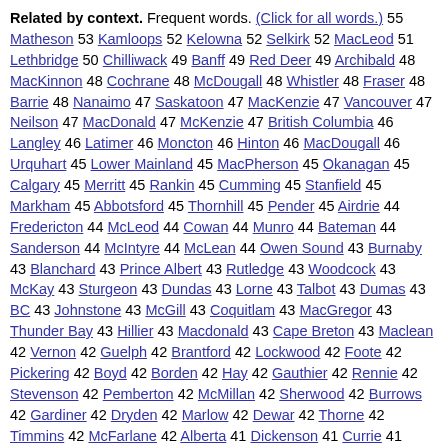Related by context. Frequent words. (Click for all words.) 55 Matheson 53 Kamloops 52 Kelowna 52 Selkirk 52 MacLeod 51 Lethbridge 50 Chilliwack 49 Banff 49 Red Deer 49 Archibald 48 MacKinnon 48 Cochrane 48 McDougall 48 Whistler 48 Fraser 48 Barrie 48 Nanaimo 47 Saskatoon 47 MacKenzie 47 Vancouver 47 Neilson 47 MacDonald 47 McKenzie 47 British Columbia 46 Langley 46 Latimer 46 Moncton 46 Hinton 46 MacDougall 46 Urquhart 45 Lower Mainland 45 MacPherson 45 Okanagan 45 Calgary 45 Merritt 45 Rankin 45 Cumming 45 Stanfield 45 Markham 45 Abbotsford 45 Thornhill 45 Pender 45 Airdrie 44 Fredericton 44 McLeod 44 Cowan 44 Munro 44 Bateman 44 Sanderson 44 McIntyre 44 McLean 44 Owen Sound 43 Burnaby 43 Blanchard 43 Prince Albert 43 Rutledge 43 Woodcock 43 McKay 43 Sturgeon 43 Dundas 43 Lorne 43 Talbot 43 Dumas 43 BC 43 Johnstone 43 McGill 43 Coquitlam 43 MacGregor 43 Thunder Bay 43 Hillier 43 Macdonald 43 Cape Breton 43 Maclean 42 Vernon 42 Guelph 42 Brantford 42 Lockwood 42 Foote 42 Pickering 42 Boyd 42 Borden 42 Hay 42 Gauthier 42 Rennie 42 Stevenson 42 Pemberton 42 McMillan 42 Sherwood 42 Burrows 42 Gardiner 42 Dryden 42 Marlow 42 Dewar 42 Thorne 42 Timmins 42 McFarlane 42 Alberta 41 Dickenson 41 Currie 41 Neale 41 McLellan
Back to home page